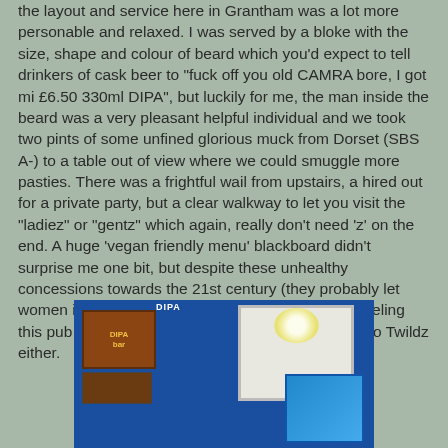the layout and service here in Grantham was a lot more personable and relaxed.  I was served by a bloke with the size, shape and colour of beard which you'd expect to tell drinkers of cask beer to "fuck off you old CAMRA bore, I got mi £6.50 330ml DIPA", but luckily for me, the man inside the beard was a very pleasant helpful individual and we took two pints of some unfined glorious muck from Dorset (SBS A-) to a table out of view where we could smuggle more pasties.  There was a frightful wail from upstairs, a hired out for a private party, but a clear walkway to let you visit the "ladiez" or "gentz" which again, really don't need 'z' on the end.  A huge 'vegan friendly menu' blackboard didn't surprise me one bit, but despite these unhealthy concessions towards the 21st century (they probably let women in without their husbands), we went away feeling this pub had been a very positive experience.  And no Twildz either.
[Figure (photo): Interior photo of a bar/pub showing blue walls, a whiteboard, decorative signs including a DIPA sign, and a bright light on the ceiling.]